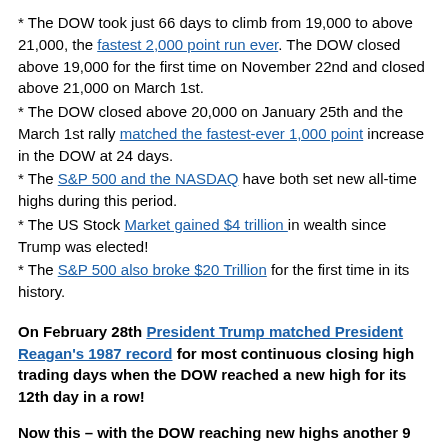* The DOW took just 66 days to climb from 19,000 to above 21,000, the fastest 2,000 point run ever. The DOW closed above 19,000 for the first time on November 22nd and closed above 21,000 on March 1st.
* The DOW closed above 20,000 on January 25th and the March 1st rally matched the fastest-ever 1,000 point increase in the DOW at 24 days.
* The S&P 500 and the NASDAQ have both set new all-time highs during this period.
* The US Stock Market gained $4 trillion in wealth since Trump was elected!
* The S&P 500 also broke $20 Trillion for the first time in its history.
On February 28th President Trump matched President Reagan's 1987 record for most continuous closing high trading days when the DOW reached a new high for its 12th day in a row!
Now this – with the DOW reaching new highs another 9 days in a row, President Trump became the only President